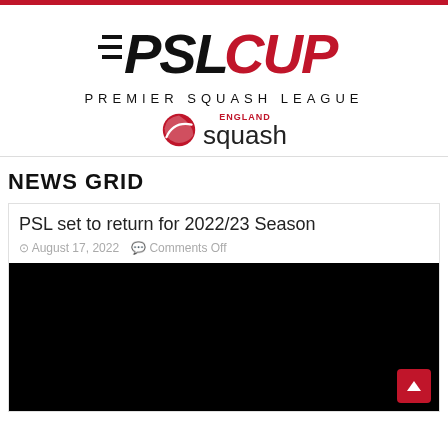[Figure (logo): PSL CUP Premier Squash League logo with England Squash branding]
NEWS GRID
PSL set to return for 2022/23 Season
August 17, 2022  Comments Off
[Figure (photo): Black image (article thumbnail)]